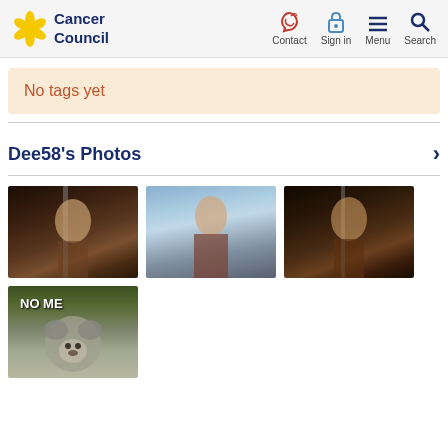Cancer Council — Contact, Sign in, Menu, Search
No tags yet
Dee58's Photos
[Figure (photo): Warrior woman with sword in dark setting]
[Figure (photo): Woman in armour with snowy forest background]
[Figure (photo): Warrior woman with sword, dark background]
[Figure (photo): Koala meme image with text NO ME]